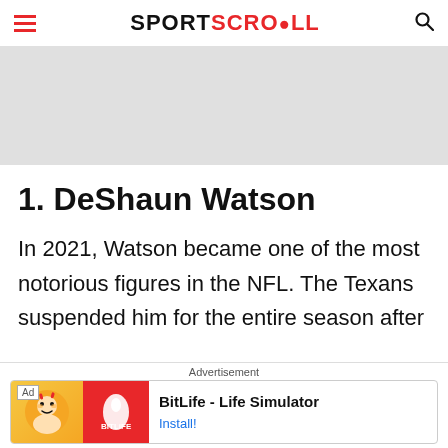SPORTSCROLL
[Figure (other): Gray advertisement banner placeholder]
1. DeShaun Watson
In 2021, Watson became one of the most notorious figures in the NFL. The Texans suspended him for the entire season after
[Figure (other): BitLife - Life Simulator app advertisement banner at the bottom of the page]